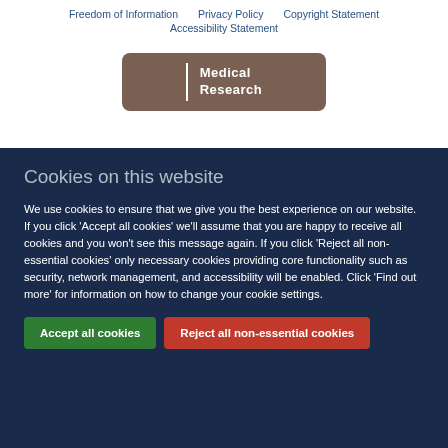Freedom of Information   Privacy Policy   Copyright Statement   Accessibility Statement
[Figure (logo): Medical Research Council logo — brown rounded rectangle with white vertical divider and white text reading 'Medical Research']
Cookies on this website
We use cookies to ensure that we give you the best experience on our website. If you click 'Accept all cookies' we'll assume that you are happy to receive all cookies and you won't see this message again. If you click 'Reject all non-essential cookies' only necessary cookies providing core functionality such as security, network management, and accessibility will be enabled. Click 'Find out more' for information on how to change your cookie settings.
Accept all cookies
Reject all non-essential cookies